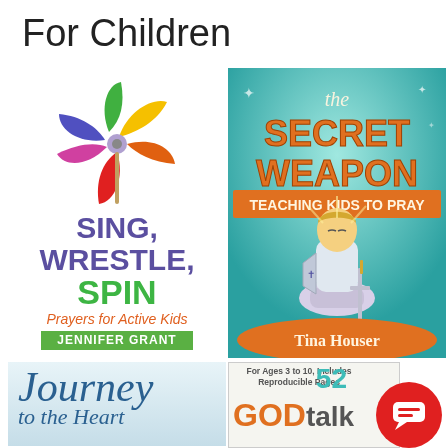For Children
[Figure (illustration): Book cover: Sing, Wrestle, Spin - Prayers for Active Kids by Jennifer Grant. Features a colorful pinwheel graphic.]
[Figure (illustration): Book cover: The Secret Weapon - Teaching Kids to Pray by Tina Houser. Features a cartoon boy in armor kneeling with a sword.]
[Figure (illustration): Book cover: Journey to the Heart (partial, bottom left)]
[Figure (illustration): Book cover: GOD talk - For Ages 3 to 10, Includes Reproducible Pages. Shows '52' and partial content.]